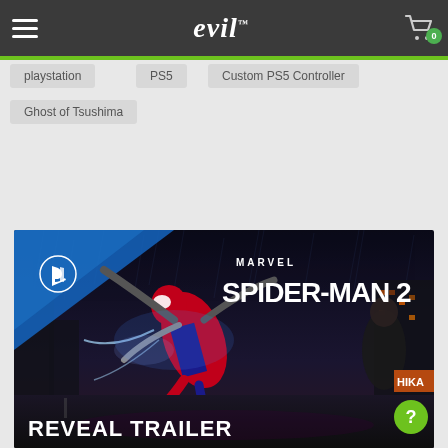evil™ — Navigation header with hamburger menu and shopping cart (0 items)
playstation
PS5
Custom PS5 Controller
Ghost of Tsushima
[Figure (screenshot): Marvel's Spider-Man 2 Reveal Trailer promotional image with Spider-Man in an action pose against a rainy city backdrop, PlayStation logo in top-left corner, 'MARVEL SPIDER-MAN 2' text in top-right, 'REVEAL TRAILER' text at bottom-left]